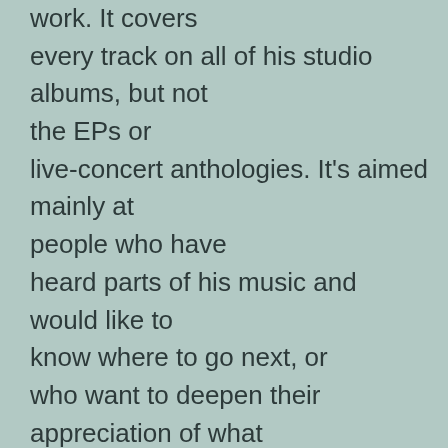work. It covers every track on all of his studio albums, but not the EPs or live-concert anthologies. It's aimed mainly at people who have heard parts of his music and would like to know where to go next, or who want to deepen their appreciation of what they've already heard.

One of the perils of being a virtuoso is that you can get so caught up in your own skill that it's hard to know when to stop —